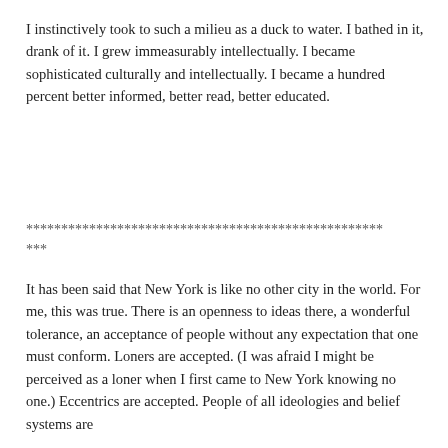I instinctively took to such a milieu as a duck to water. I bathed in it, drank of it. I grew immeasurably intellectually. I became sophisticated culturally and intellectually. I became a hundred percent better informed, better read, better educated.
***************************************************
***
It has been said that New York is like no other city in the world. For me, this was true. There is an openness to ideas there, a wonderful tolerance, an acceptance of people without any expectation that one must conform. Loners are accepted. (I was afraid I might be perceived as a loner when I first came to New York knowing no one.) Eccentrics are accepted. People of all ideologies and belief systems are